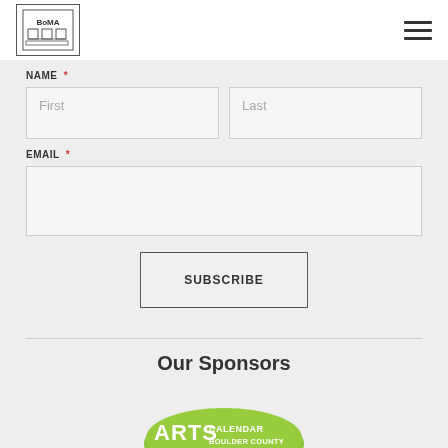BoMA logo and navigation menu
NAME *
First
Last
EMAIL *
SUBSCRIBE
Our Sponsors
[Figure (logo): Arts Calendar Boulder County logo — green oval badge with ARTS CALENDAR BOULDER COUNTY text and CLICK FOR ARTS & CULTURE text]